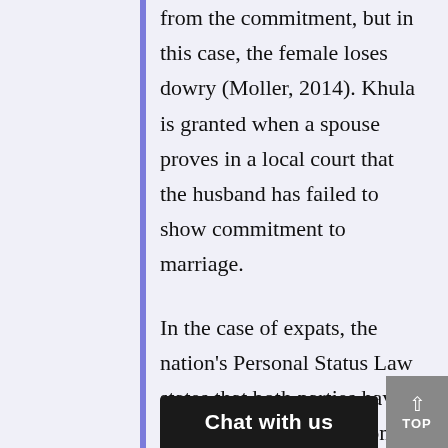from the commitment, but in this case, the female loses dowry (Moller, 2014). Khula is granted when a spouse proves in a local court that the husband has failed to show commitment to marriage.
In the case of expats, the nation's Personal Status Law states that both parties have the option to use their home country's laws when petitioning for divorce as provided for in Article 1 of the said decree. It declares...